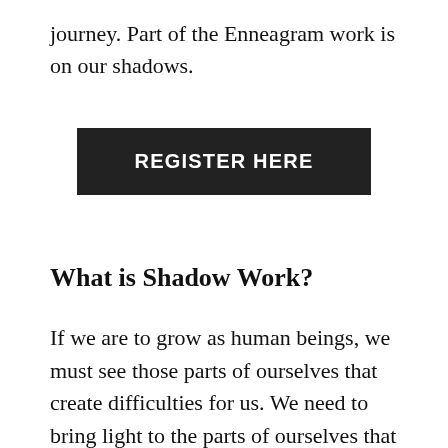journey. Part of the Enneagram work is on our shadows.
[Figure (other): Dark rectangular button with white bold uppercase text reading REGISTER HERE]
What is Shadow Work?
If we are to grow as human beings, we must see those parts of ourselves that create difficulties for us. We need to bring light to the parts of ourselves that are more hidden and yet have a big influence on our behavior. The psychologist Carl Jung called the process of finding these